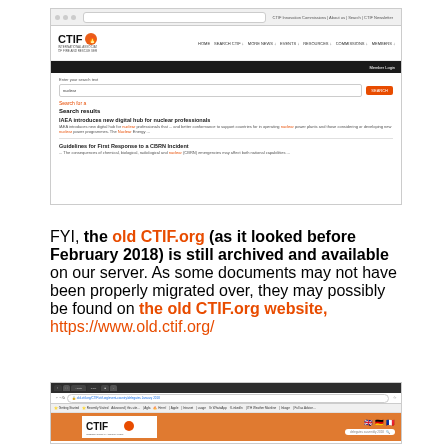[Figure (screenshot): Screenshot of CTIF website search results page showing results for 'nuclear', with two result items: 'IAEA introduces new digital hub for nuclear professionals' and 'Guidelines for First Response to a CBRN Incident']
FYI, the old CTIF.org (as it looked before February 2018) is still archived and available on our server. As some documents may not have been properly migrated over, they may possibly be found on the old CTIF.org website, https://www.old.ctif.org/
[Figure (screenshot): Screenshot of old CTIF.org website (archived version from before February 2018) showing the CTIF logo on an orange background, with language flags (GB, DE, FR) and a navigation menu]